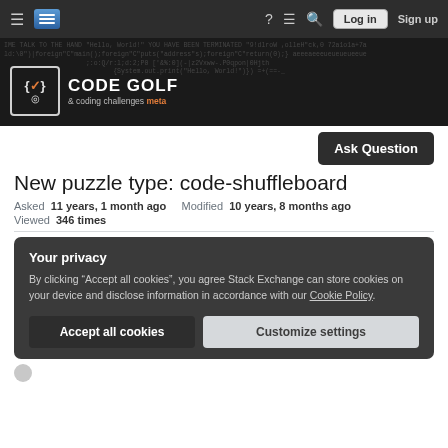Code Golf & coding challenges meta — navigation bar with Log in and Sign up buttons
[Figure (logo): Code Golf & coding challenges meta logo with icon showing curly braces and circle on dark banner with background code text]
Ask Question
New puzzle type: code-shuffleboard
Asked 11 years, 1 month ago    Modified 10 years, 8 months ago
Viewed 346 times
Your privacy
By clicking "Accept all cookies", you agree Stack Exchange can store cookies on your device and disclose information in accordance with our Cookie Policy.
Accept all cookies    Customize settings